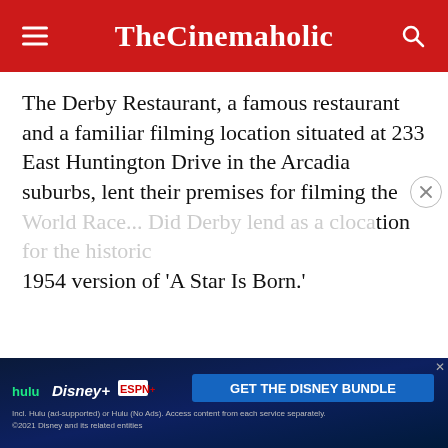TheCinemaholic
The Derby Restaurant, a famous restaurant and a familiar filming location situated at 233 East Huntington Drive in the Arcadia suburbs, lent their premises for filming the World Race... Did Derby lend as a classic filming location for the historic 1954 version of 'A Star Is Born.'
[Figure (other): Disney Bundle advertisement banner showing Hulu, Disney+, ESPN+ logos with 'GET THE DISNEY BUNDLE' call to action]